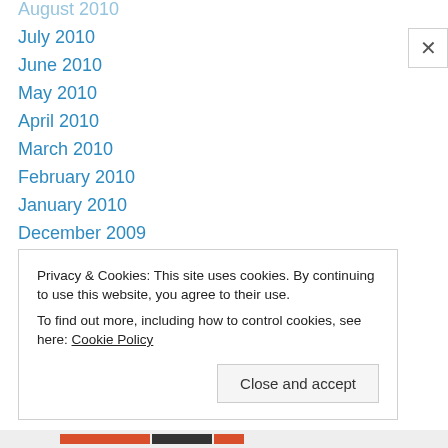August 2010
July 2010
June 2010
May 2010
April 2010
March 2010
February 2010
January 2010
December 2009
November 2009
October 2009
September 2009
August 2009
July 2009
Privacy & Cookies: This site uses cookies. By continuing to use this website, you agree to their use. To find out more, including how to control cookies, see here: Cookie Policy
Close and accept